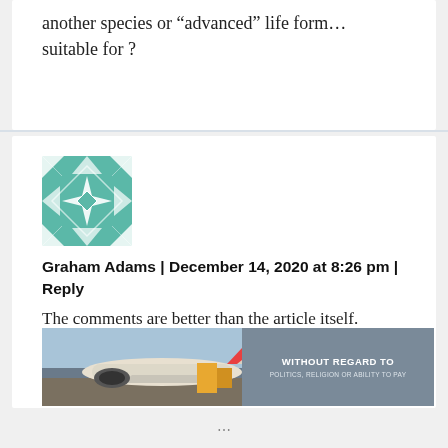another species or “advanced” life form… suitable for ?
[Figure (illustration): Geometric teal and white quilt-pattern avatar for user Graham Adams]
Graham Adams | December 14, 2020 at 8:26 pm | Reply
The comments are better than the article itself. Grammar and spelling are important. That’s all I have to share.
[Figure (photo): Advertisement banner showing an airplane being loaded with cargo on the tarmac, with text overlay reading WITHOUT REGARD TO POLITICS, RELIGION OR ABILITY TO PAY]